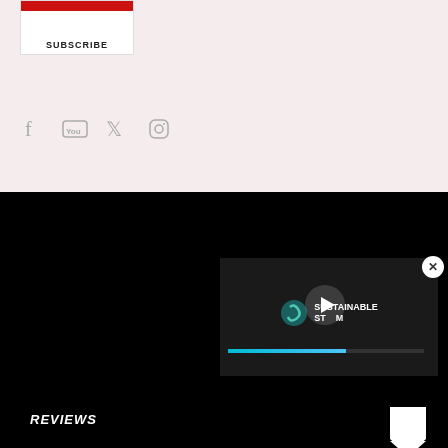[Figure (screenshot): Subscribe box with red bar at top and SUBSCRIBE text]
[Figure (screenshot): Social media icons: Facebook, YouTube, Twitter, Instagram]
REVIEWS
[Figure (logo): Shield/badge icon (white) in top right of black section]
Saints Row review
Tinykin review
Sword and Fairy: Together Forever
Midnight Fight Express review
Soul Hackers 2 review
[Figure (screenshot): Sustainable Steam video overlay with play button and progress bar]